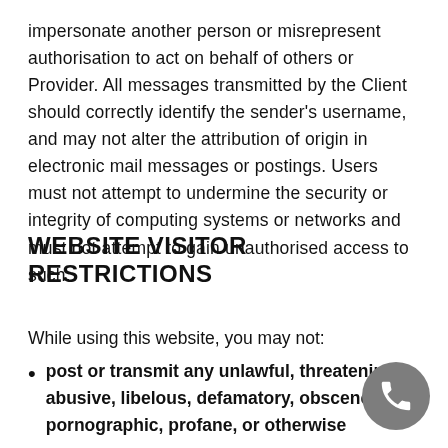impersonate another person or misrepresent authorisation to act on behalf of others or Provider. All messages transmitted by the Client should correctly identify the sender's username, and may not alter the attribution of origin in electronic mail messages or postings. Users must not attempt to undermine the security or integrity of computing systems or networks and must not attempt to gain unauthorised access to such.
WEBSITE VISITOR RESTRICTIONS
While using this website, you may not:
post or transmit any unlawful, threatening, abusive, libelous, defamatory, obscene, pornographic, profane, or otherwise